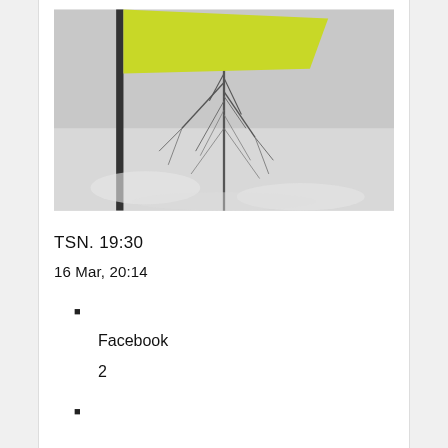[Figure (photo): Photograph of a yellow flag on a pole with bare winter trees and snow in the background]
TSN. 19:30
16 Mar, 20:14
■
Facebook
2
■